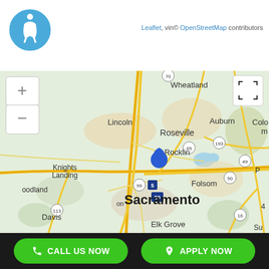[Figure (other): Accessibility icon - blue circle with white wheelchair user figure]
Leaflet, vin© OpenStreetMap contributors
[Figure (map): Interactive OpenStreetMap showing the Sacramento, California area with a blue location pin near Roseville/Sacramento. Visible cities include Wheatland, Lincoln, Auburn, Knights Landing, Rocklin, Roseville, Folsom, Woodland, Sacramento, Davis, Elk Grove. Roads and highways including I-5, I-80, Highway 50, 99, 65, 193, 49, 16, 113 visible. Zoom controls (+/-) on left side, fullscreen button on right side.]
CALL US NOW
APPLY NOW